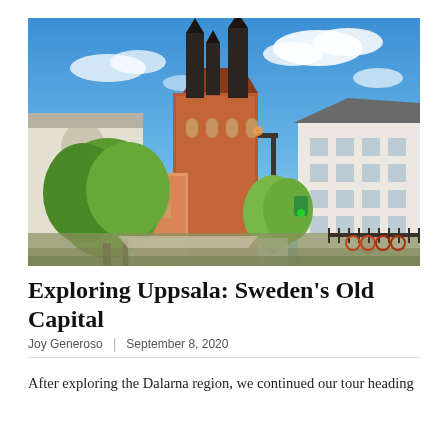[Figure (photo): Cityscape of Uppsala, Sweden showing the iconic Uppsala Cathedral with its tall twin spires rising above historic buildings and greenery, with a bright blue sky and scattered clouds in the background. A white multi-story building is visible on the right. Trees, bicycles, and street lamps are in the foreground.]
Exploring Uppsala: Sweden's Old Capital
Joy Generoso | September 8, 2020
After exploring the Dalarna region, we continued our tour heading